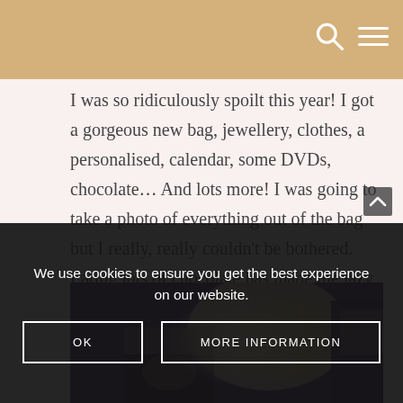I was so ridiculously spoilt this year! I got a gorgeous new bag, jewellery, clothes, a personalised, calendar, some DVDs, chocolate… And lots more! I was going to take a photo of everything out of the bag but I really, really couldn't be bothered. Eating lots of chocolate has made me lazy D:
[Figure (photo): Photo of gift bags and presents with colorful wrapping, partially visible.]
We use cookies to ensure you get the best experience on our website.
OK   MORE INFORMATION